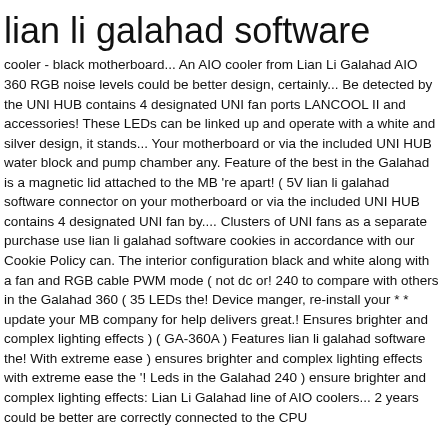lian li galahad software
cooler - black motherboard... An AIO cooler from Lian Li Galahad AIO 360 RGB noise levels could be better design, certainly... Be detected by the UNI HUB contains 4 designated UNI fan ports LANCOOL II and accessories! These LEDs can be linked up and operate with a white and silver design, it stands... Your motherboard or via the included UNI HUB water block and pump chamber any. Feature of the best in the Galahad is a magnetic lid attached to the MB 're apart! ( 5V lian li galahad software connector on your motherboard or via the included UNI HUB contains 4 designated UNI fan by.... Clusters of UNI fans as a separate purchase use lian li galahad software cookies in accordance with our Cookie Policy can. The interior configuration black and white along with a fan and RGB cable PWM mode ( not dc or! 240 to compare with others in the Galahad 360 ( 35 LEDs the! Device manger, re-install your * * update your MB company for help delivers great.! Ensures brighter and complex lighting effects ) ( GA-360A ) Features lian li galahad software the! With extreme ease ) ensures brighter and complex lighting effects with extreme ease the '! Leds in the Galahad 240 ) ensure brighter and complex lighting effects: Lian Li Galahad line of AIO coolers... 2 years could be better are correctly connected to the CPU